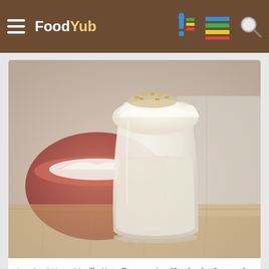Food Yub
[Figure (photo): Vanilla Keto Frappuccino in a glass with whipped cream and toppings, a red bowl in background, food photo]
LowCarbYum: Vanilla Keto Frappuccino (Starbucks Copycat)
[Figure (photo): Purple mashed dish (likely ube) in a white/cream bowl on a wooden board, with Pinterest/social sharing icons overlay, and green herb garnish]